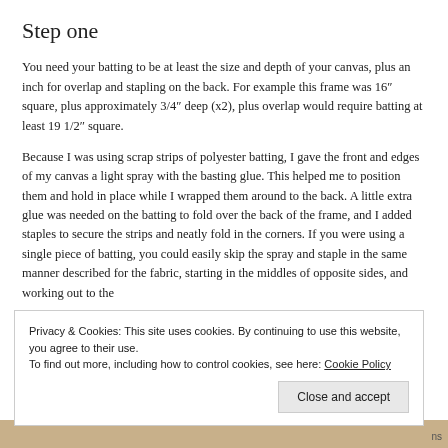Step one
You need your batting to be at least the size and depth of your canvas, plus an inch for overlap and stapling on the back. For example this frame was 16″ square, plus approximately 3/4″ deep (x2), plus overlap would require batting at least 19 1/2″ square.
Because I was using scrap strips of polyester batting, I gave the front and edges of my canvas a light spray with the basting glue. This helped me to position them and hold in place while I wrapped them around to the back. A little extra glue was needed on the batting to fold over the back of the frame, and I added staples to secure the strips and neatly fold in the corners. If you were using a single piece of batting, you could easily skip the spray and staple in the same manner described for the fabric, starting in the middles of opposite sides, and working out to the
Privacy & Cookies: This site uses cookies. By continuing to use this website, you agree to their use.
To find out more, including how to control cookies, see here: Cookie Policy
Close and accept